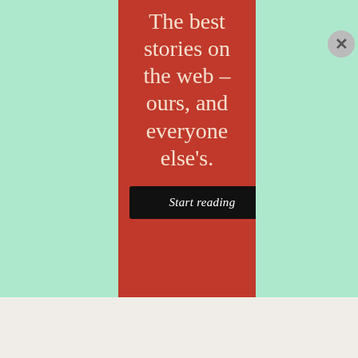[Figure (infographic): Advertisement banner with red center panel on mint green background. Center panel shows text 'The best stories on the web – ours, and everyone else's.' with a black 'Start reading' button below. Left and right panels are mint green.]
The best stories on the web – ours, and everyone else's.
Start reading
Advertisements
[Figure (infographic): Bloomingdale's advertisement banner showing logo, 'View Today's Top Deals!' text, a woman in a hat, and a 'SHOP NOW >' button.]